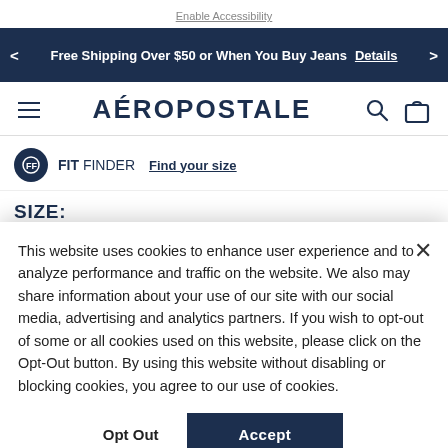Enable Accessibility
Free Shipping Over $50 or When You Buy Jeans  Details
AÉROPOSTALE
FIT FINDER  Find your size
SIZE:
This website uses cookies to enhance user experience and to analyze performance and traffic on the website. We also may share information about your use of our site with our social media, advertising and analytics partners. If you wish to opt-out of some or all cookies used on this website, please click on the Opt-Out button. By using this website without disabling or blocking cookies, you agree to our use of cookies.
Opt Out   Accept